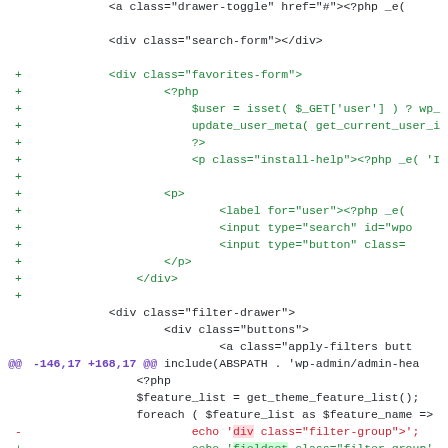Code diff showing PHP/HTML file changes including favorites-form, filter-drawer, and filter-group elements
[Figure (screenshot): A git diff view of PHP/HTML code showing added lines (green with +), removed lines (red with -), and context lines (black), including a hunk header in purple.]